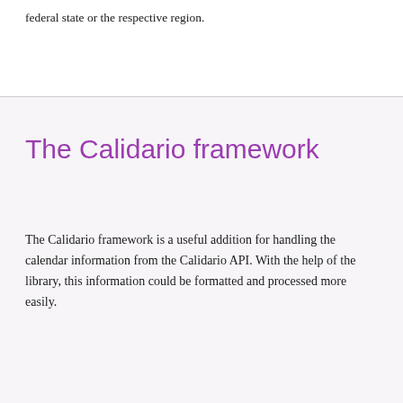federal state or the respective region.
The Calidario framework
The Calidario framework is a useful addition for handling the calendar information from the Calidario API. With the help of the library, this information could be formatted and processed more easily.